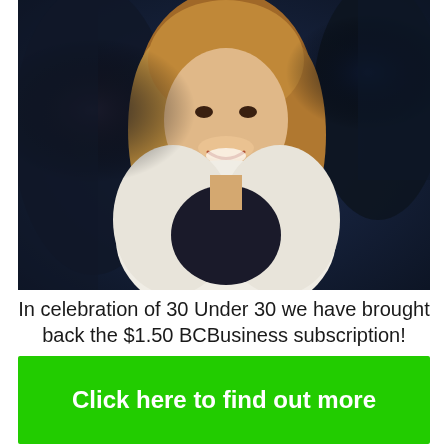[Figure (photo): A smiling young woman with curly blonde-brown hair, wearing a white textured blazer over a dark top, photographed against a dark blurred background.]
In celebration of 30 Under 30 we have brought back the $1.50 BCBusiness subscription!
Click here to find out more